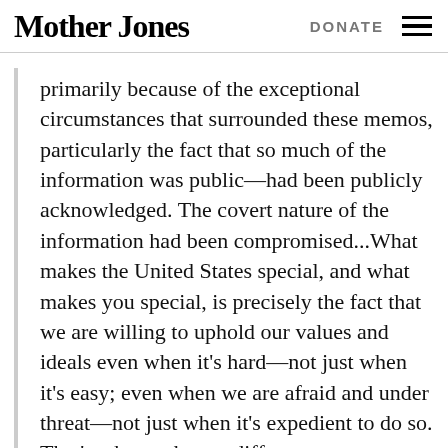Mother Jones   DONATE
primarily because of the exceptional circumstances that surrounded these memos, particularly the fact that so much of the information was public—had been publicly acknowledged. The covert nature of the information had been compromised...What makes the United States special, and what makes you special, is precisely the fact that we are willing to uphold our values and ideals even when it's hard—not just when it's easy; even when we are afraid and under threat—not just when it's expedient to do so. That's what makes us different.